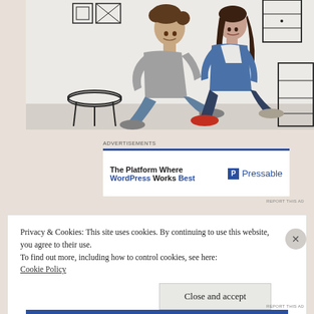[Figure (photo): A couple sitting on the floor against a white wall with drawn furniture sketches around them. The man has curly hair and wears a grey t-shirt; the woman wears a denim jacket. Both are smiling and looking upward.]
ADVERTISEMENTS
[Figure (other): Advertisement banner for Pressable: 'The Platform Where WordPress Works Best' with Pressable logo on the right.]
REPORT THIS AD
Privacy & Cookies: This site uses cookies. By continuing to use this website, you agree to their use.
To find out more, including how to control cookies, see here:
Cookie Policy
Close and accept
REPORT THIS AD